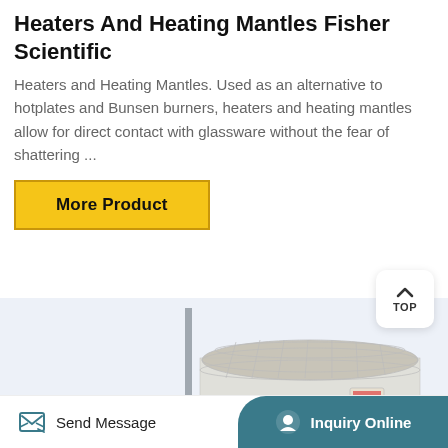Heaters And Heating Mantles Fisher Scientific
Heaters and Heating Mantles. Used as an alternative to hotplates and Bunsen burners, heaters and heating mantles allow for direct contact with glassware without the fear of shattering ...
More Product
[Figure (photo): A lab heating mantle device — a cylindrical white/grey heating mantle on a blue stand with a vertical metal rod, shown on a light blue/white background.]
Send Message   Inquiry Online